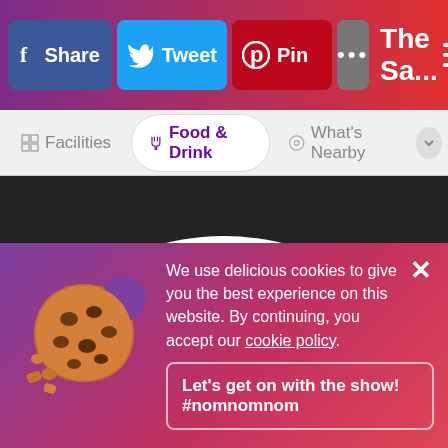[Figure (screenshot): Mobile app top navigation bar with Facebook Share, Twitter Tweet, Pinterest Pin, more (...) buttons, page title 'The Sa...' and hamburger menu icon on a purple-to-red gradient background]
[Figure (screenshot): Tab navigation bar with Facilities, Food & Drink (active/selected), and What's Nearby tabs]
[Figure (photo): Photo of chicken curry dish in a white bowl - golden chicken pieces with green beans and herbs in a creamy sauce]
Chicken curry
[Figure (infographic): Cookie consent banner with cookie emoji illustration, text about cookie policy, close button, and 'Let's get on with the show! #nomnomnom' button on purple-pink gradient background]